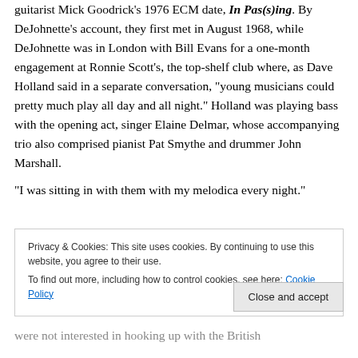guitarist Mick Goodrick's 1976 ECM date, In Pas(s)ing. By DeJohnette's account, they first met in August 1968, while DeJohnette was in London with Bill Evans for a one-month engagement at Ronnie Scott's, the top-shelf club where, as Dave Holland said in a separate conversation, "young musicians could pretty much play all day and all night." Holland was playing bass with the opening act, singer Elaine Delmar, whose accompanying trio also comprised pianist Pat Smythe and drummer John Marshall.
"I was sitting in with them with my melodica every night."
Privacy & Cookies: This site uses cookies. By continuing to use this website, you agree to their use. To find out more, including how to control cookies, see here: Cookie Policy
Close and accept
were not interested in hooking up with the British